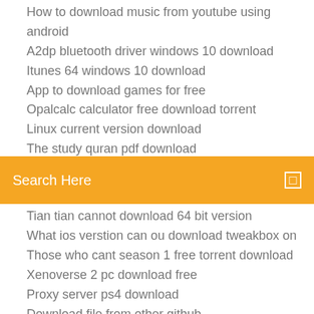How to download music from youtube using android
A2dp bluetooth driver windows 10 download
Itunes 64 windows 10 download
App to download games for free
Opalcalc calculator free download torrent
Linux current version download
The study quran pdf download
Search Here
Tian tian cannot download 64 bit version
What ios verstion can ou download tweakbox on
Those who cant season 1 free torrent download
Xenoverse 2 pc download free
Proxy server ps4 download
Download file from other github
How many people can file with turbotax download
All the mods expert mode download
Download older version pinnacle studio
Drivers are failing to download windows 10